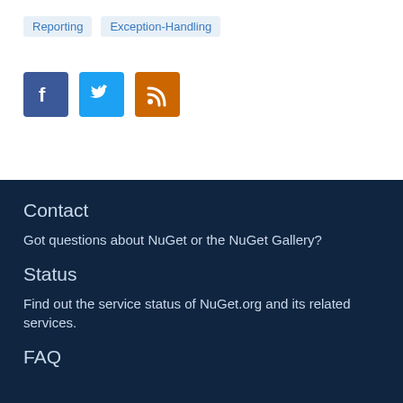Reporting   Exception-Handling
[Figure (illustration): Social media icons: Facebook (blue), Twitter (light blue), RSS feed (orange)]
Contact
Got questions about NuGet or the NuGet Gallery?
Status
Find out the service status of NuGet.org and its related services.
FAQ